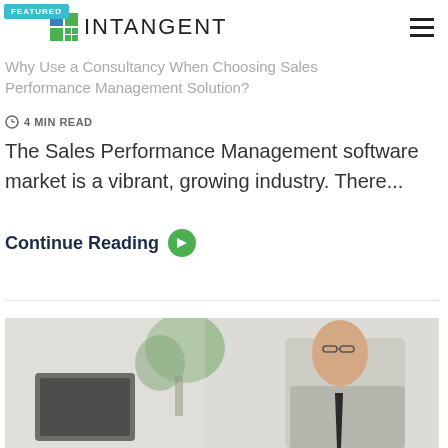INTANGENT
FEATURED
Why Use a Consultancy When Choosing Sales Performance Management Solution?
4 MIN READ
The Sales Performance Management software market is a vibrant, growing industry. There...
Continue Reading →
[Figure (photo): A person in a light grey suit and dark tie, seated at a desk with a laptop and monitor, viewed from side profile. A green plant is visible in the background.]